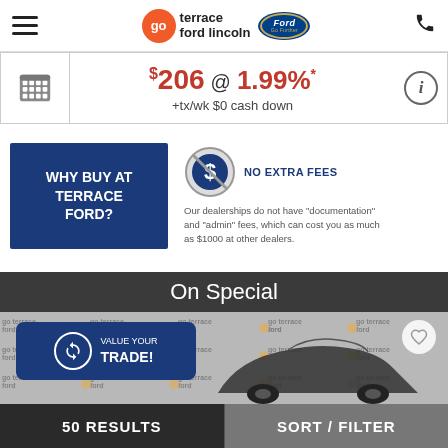go terrace ford lincoln — Ford Go Further
$206 @ 1.99%* +tx/wk $0 cash down
WHY BUY AT TERRACE FORD?
NO EXTRA FEES
Our dealerships do not have "documentation" and "admin" fees, which can cost you as much as $1000 at other dealers.
On Special
VALUE YOUR TRADE!
50 RESULTS
SORT / FILTER